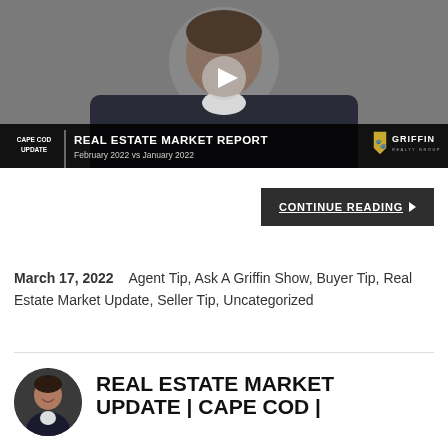[Figure (screenshot): Video thumbnail showing a man in a dark blazer. Overlay bar reads: CAPE COD UPDATE | REAL ESTATE MARKET REPORT February 2022 vs January 2022 | Griffin Realty Group logo]
CONTINUE READING ▶
March 17, 2022   Agent Tip, Ask A Griffin Show, Buyer Tip, Real Estate Market Update, Seller Tip, Uncategorized
REAL ESTATE MARKET UPDATE | CAPE COD |